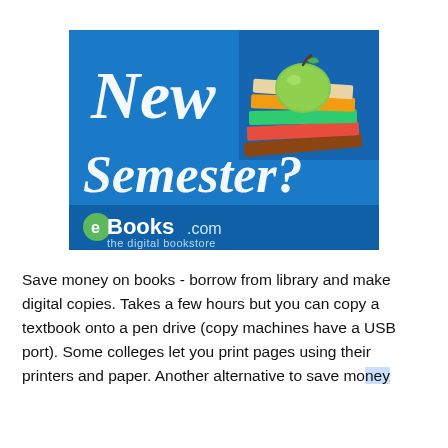[Figure (logo): Advertisement banner for eBooks.com showing 'New Semester?' text in white cursive on a blue background with stacked books and a green apple. Logo reads 'eBooks.com the digital bookstore'.]
Save money on books - borrow from library and make digital copies. Takes a few hours but you can copy a textbook onto a pen drive (copy machines have a USB port). Some colleges let you print pages using their printers and paper. Another alternative to save money